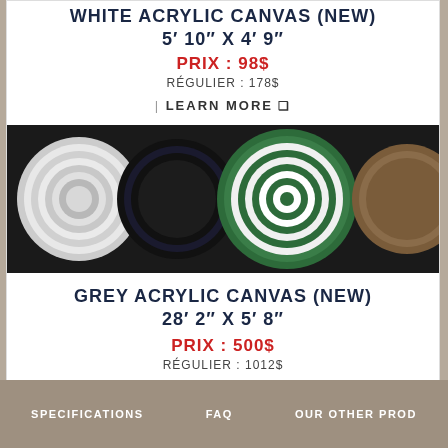WHITE ACRYLIC CANVAS (NEW) 5’ 10″ X 4’ 9″
PRIX : 98$
RÉGULIER : 178$
| LEARN MORE □
[Figure (photo): Rolled canvas fabrics in various colors and stripe patterns including green, white, grey, and brown, viewed from the ends of the rolls]
GREY ACRYLIC CANVAS (NEW) 28’ 2″ X 5’ 8″
PRIX : 500$
RÉGULIER : 1012$
SPECIFICATIONS   FAQ   OUR OTHER PROD